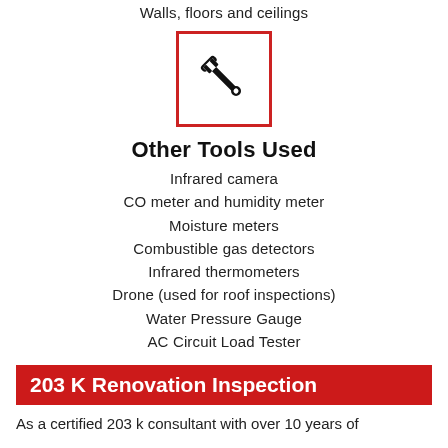Walls, floors and ceilings
[Figure (illustration): Wrench/spanner icon inside a red-bordered square box]
Other Tools Used
Infrared camera
CO meter and humidity meter
Moisture meters
Combustible gas detectors
Infrared thermometers
Drone (used for roof inspections)
Water Pressure Gauge
AC Circuit Load Tester
203 K Renovation Inspection
As a certified 203 k consultant with over 10 years of